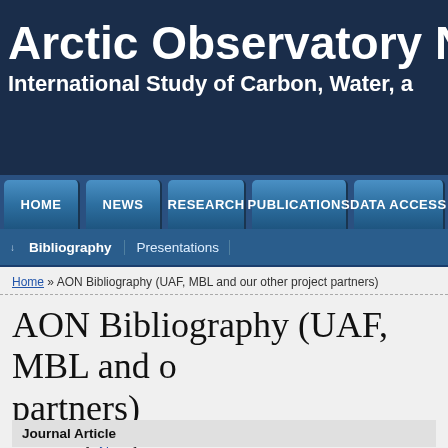Arctic Observatory Network — International Study of Carbon, Water, a…
HOME | NEWS | RESEARCH | PUBLICATIONS | DATA ACCESS
↓ Bibliography | Presentations
Home » AON Bibliography (UAF, MBL and our other project partners)
AON Bibliography (UAF, MBL and our other partners)
Author Title [ Type ▼ ] Year
Filters: Author is Mack, M. C. [Clear All Filters]
Journal Article